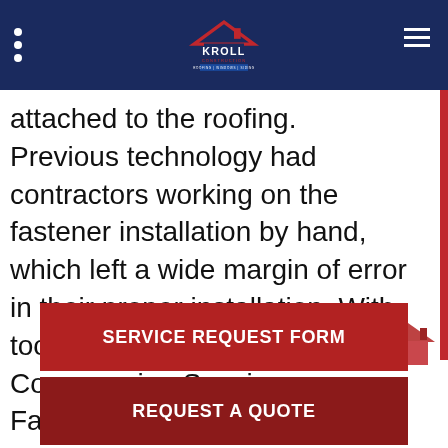Kroll Construction — Roofing | Windows | Siding
attached to the roofing. Previous technology had contractors working on the fastener installation by hand, which left a wide margin of error in their proper installation. With tools like AccuDRYve™ Compression Sensing Fastening System, this margin for error is reduced significantly. These tools use a torque-based system that identifies when the fasteners have been seated optimally, which h… d crew membe…
roofing
SERVICE REQUEST FORM
REQUEST A QUOTE